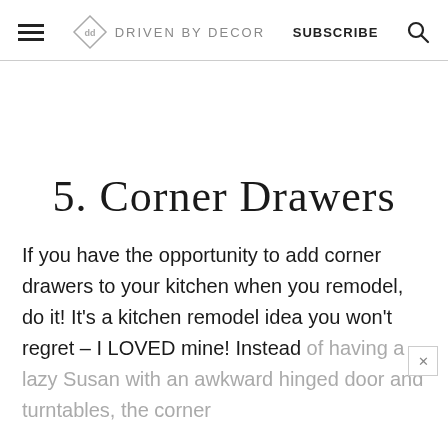DRIVEN BY DECOR | SUBSCRIBE
5. Corner Drawers
If you have the opportunity to add corner drawers to your kitchen when you remodel, do it! It's a kitchen remodel idea you won't regret – I LOVED mine! Instead of having a lazy Susan with an awkward hinged door and turntables, the corner